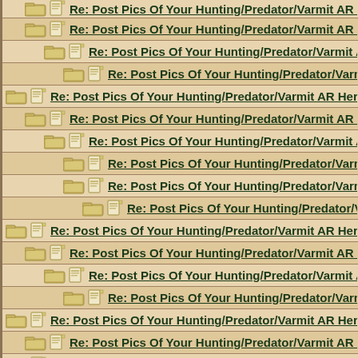Re: Post Pics Of Your Hunting/Predator/Varmit AR Here !!
Re: Post Pics Of Your Hunting/Predator/Varmit AR Here !!
Re: Post Pics Of Your Hunting/Predator/Varmit AR Here !!
Re: Post Pics Of Your Hunting/Predator/Varmit AR Here !!
Re: Post Pics Of Your Hunting/Predator/Varmit AR Here !!
Re: Post Pics Of Your Hunting/Predator/Varmit AR Here !!
Re: Post Pics Of Your Hunting/Predator/Varmit AR Here !!
Re: Post Pics Of Your Hunting/Predator/Varmit AR Here !!
Re: Post Pics Of Your Hunting/Predator/Varmit AR Here !!
Re: Post Pics Of Your Hunting/Predator/Varmit AR Here !!
Re: Post Pics Of Your Hunting/Predator/Varmit AR Here !!
Re: Post Pics Of Your Hunting/Predator/Varmit AR Here !!
Re: Post Pics Of Your Hunting/Predator/Varmit AR Here !!
Re: Post Pics Of Your Hunting/Predator/Varmit AR Here !!
Re: Post Pics Of Your Hunting/Predator/Varmit AR Here !!
Re: Post Pics Of Your Hunting/Predator/Varmit AR Here !!
Re: Post Pics Of Your Hunting/Predator/Varmit AR Here !!